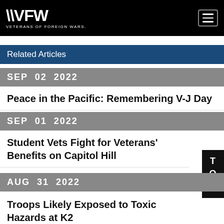VFW VETERANS OF FOREIGN WARS.
Related Articles
SEP 02 2022
Peace in the Pacific: Remembering V-J Day
SEP 01 2022
Student Vets Fight for Veterans' Benefits on Capitol Hill
AUG 31 2022
Troops Likely Exposed to Toxic Hazards at K2